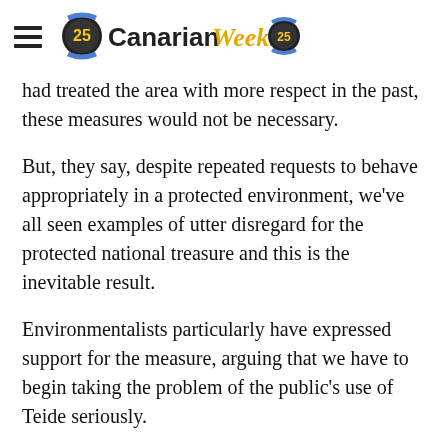Canarian Weekly
had treated the area with more respect in the past, these measures would not be necessary.
But, they say, despite repeated requests to behave appropriately in a protected environment, we've all seen examples of utter disregard for the protected national treasure and this is the inevitable result.
Environmentalists particularly have expressed support for the measure, arguing that we have to begin taking the problem of the public's use of Teide seriously.
They say that they fully expect occasional